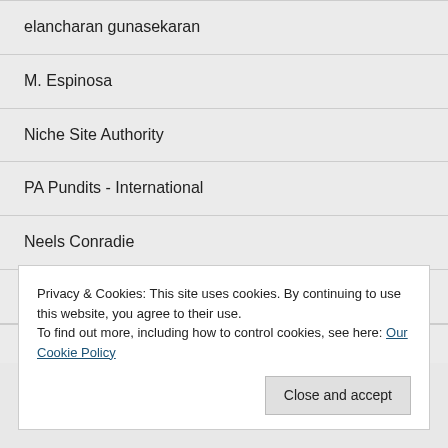elancharan gunasekaran
M. Espinosa
Niche Site Authority
PA Pundits - International
Neels Conradie
Site Title
T...
Privacy & Cookies: This site uses cookies. By continuing to use this website, you agree to their use.
To find out more, including how to control cookies, see here: Our Cookie Policy
Close and accept